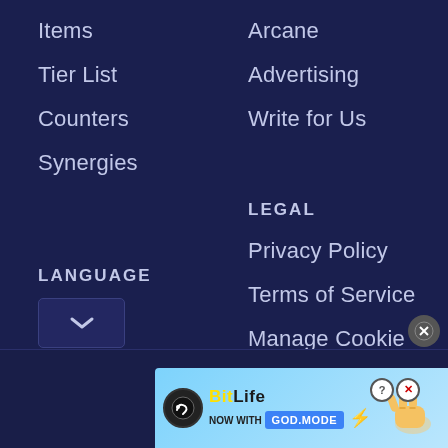Items
Tier List
Counters
Synergies
Arcane
Advertising
Write for Us
LEGAL
Privacy Policy
Terms of Service
Manage Cookie Settings
LANGUAGE
[Figure (screenshot): Loading spinner (white arc on dark background)]
[Figure (screenshot): Close/X button circle icon]
[Figure (screenshot): Dropdown chevron button for language selection]
[Figure (screenshot): BitLife advertisement banner: NOW WITH GOD MODE, with hand pointer graphic]